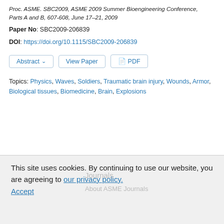Proc. ASME. SBC2009, ASME 2009 Summer Bioengineering Conference, Parts A and B, 607-608, June 17–21, 2009
Paper No: SBC2009-206839
DOI: https://doi.org/10.1115/SBC2009-206839
Abstract  View Paper  PDF
Topics: Physics, Waves, Soldiers, Traumatic brain injury, Wounds, Armor, Biological tissues, Biomedicine, Brain, Explosions
This site uses cookies. By continuing to use our website, you are agreeing to our privacy policy. Accept